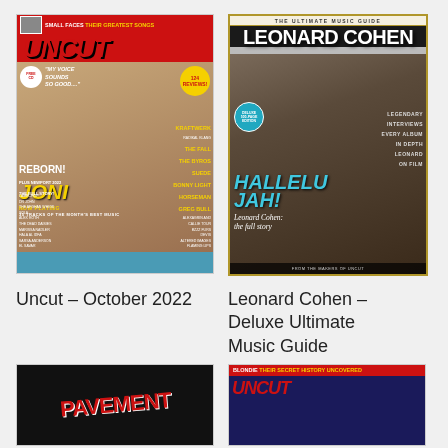[Figure (photo): Magazine cover: Uncut – October 2022, featuring Joni Mitchell. Red masthead, blue background, headlines about Small Faces, Kraftwerk, The Fall, The Byrds, Suede, Bonny Light Horseman, Greg Dulli.]
Uncut – October 2022
[Figure (photo): Magazine cover: Leonard Cohen – Deluxe Ultimate Music Guide. Gold border, black and white photo of Leonard Cohen, cyan HALLELUJAH headline.]
Leonard Cohen – Deluxe Ultimate Music Guide
[Figure (photo): Bottom-left partially visible magazine cover: Pavement, dark background with red text.]
[Figure (photo): Bottom-right partially visible magazine cover: Uncut featuring Blondie, red masthead, headline BLONDIE THEIR SECRET HISTORY UNCOVERED.]